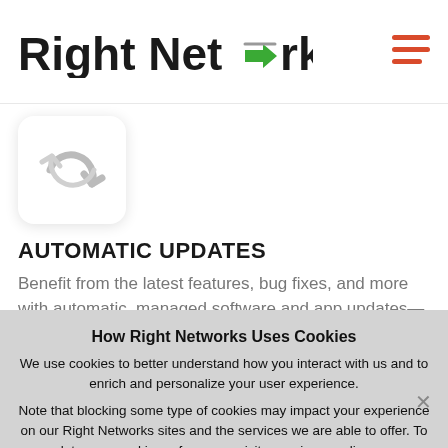Right Networks
[Figure (logo): Right Networks logo with green arrow icon in the word 'Networks']
[Figure (illustration): Circular arrow/refresh icon in grey tones inside a white rounded square box]
AUTOMATIC UPDATES
Benefit from the latest features, bug fixes, and more with automatic, managed software and app updates—no
How Right Networks Uses Cookies
We use cookies to better understand how you interact with us and to enrich and personalize your user experience.
Note that blocking some type of cookies may impact your experience on our Right Networks sites and the services we are able to offer. To update your cookie preferences, visit our privacy policy page.
Allow all cookies
Use only necessary cookies
Privacy Policy